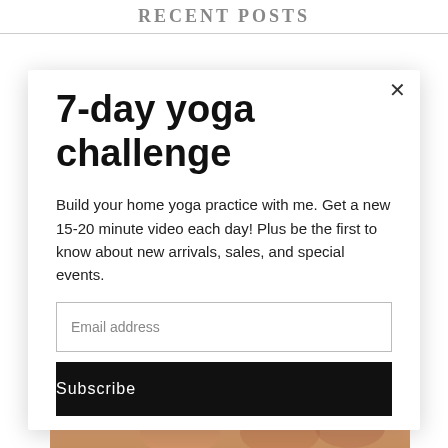RECENT POSTS
7-day yoga challenge
Build your home yoga practice with me. Get a new 15-20 minute video each day! Plus be the first to know about new arrivals, sales, and special events.
Email address
Subscribe
[Figure (photo): Partial view of a person in a yoga pose, hands visible at bottom of image]